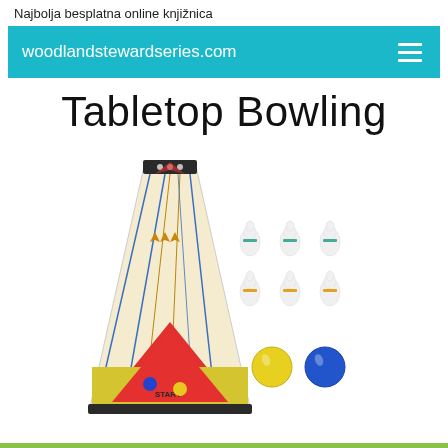Najbolja besplatna online knjižnica
woodlandstewardseries.com
Tabletop Bowling
[Figure (photo): Tabletop bowling set showing a miniature bowling lane board with pins arranged at the top, and separately: 6 white bowling pins arranged in two rows of 3, plus a yellow ball and a blue ball. The lane has a red triangular area at the bottom labeled START with a blue and yellow ball shown on it.]